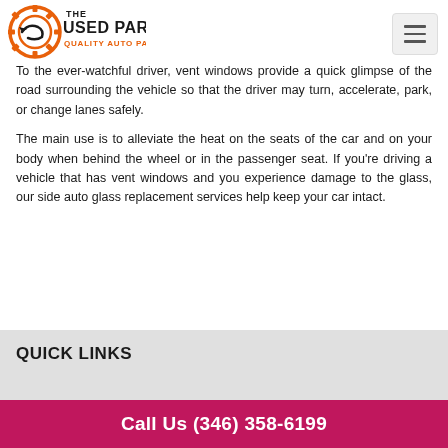[Figure (logo): The Used Parts - Quality Auto Parts logo with orange gear icon and black bold text]
To the ever-watchful driver, vent windows provide a quick glimpse of the road surrounding the vehicle so that the driver may turn, accelerate, park, or change lanes safely.
The main use is to alleviate the heat on the seats of the car and on your body when behind the wheel or in the passenger seat. If you’re driving a vehicle that has vent windows and you experience damage to the glass, our side auto glass replacement services help keep your car intact.
QUICK LINKS
Call Us (346) 358-6199